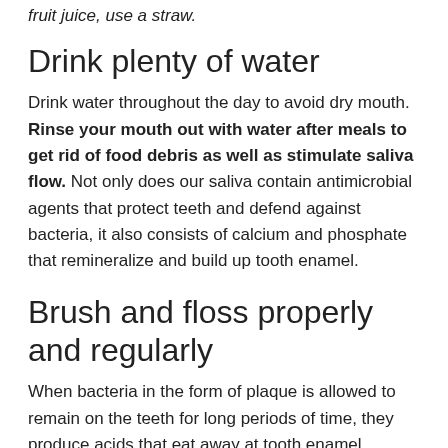fruit juice, use a straw.
Drink plenty of water
Drink water throughout the day to avoid dry mouth. Rinse your mouth out with water after meals to get rid of food debris as well as stimulate saliva flow. Not only does our saliva contain antimicrobial agents that protect teeth and defend against bacteria, it also consists of calcium and phosphate that remineralize and build up tooth enamel.
Brush and floss properly and regularly
When bacteria in the form of plaque is allowed to remain on the teeth for long periods of time, they produce acids that eat away at tooth enamel. Regular brushing and flossing rid the mouth of plaque and food debris. Be sure not to brush too aggressively